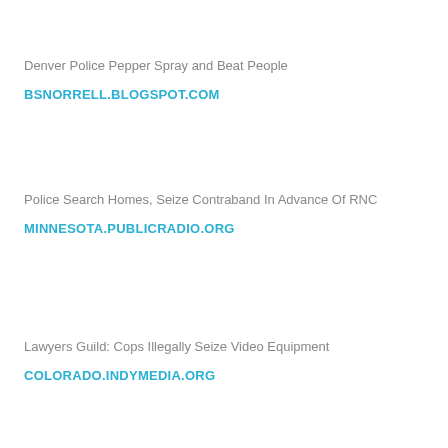Denver Police Pepper Spray and Beat People
BSNORRELL.BLOGSPOT.COM
Police Search Homes, Seize Contraband In Advance Of RNC
MINNESOTA.PUBLICRADIO.ORG
Lawyers Guild: Cops Illegally Seize Video Equipment
COLORADO.INDYMEDIA.ORG